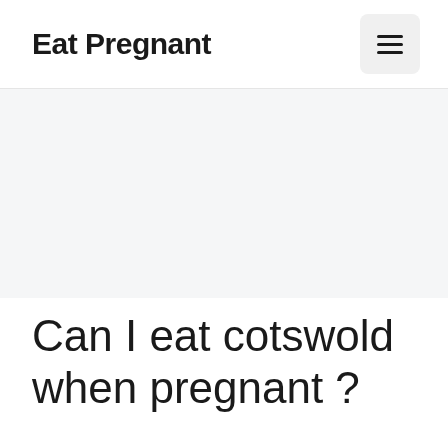Eat Pregnant
[Figure (other): Gray banner/advertisement area]
Can I eat cotswold when pregnant ?